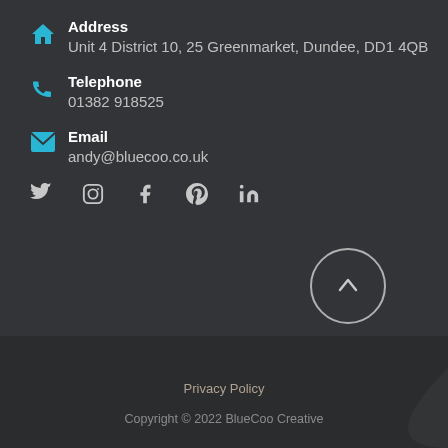Address
Unit 4 District 10, 25 Greenmarket, Dundee, DD1 4QB
Telephone
01382 918525
Email
andy@bluecoo.co.uk
[Figure (infographic): Social media icons row: Twitter, Instagram, Facebook, Pinterest, LinkedIn]
[Figure (illustration): Circular up-arrow back-to-top button]
Privacy Policy
Copyright © 2022 BlueCoo Creative